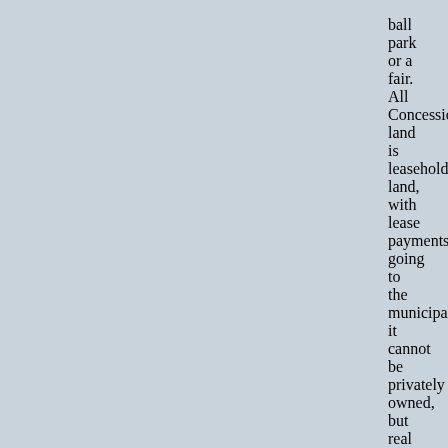ball park or a fair. All Concession land is leasehold land, with lease payments going to the municipality; it cannot be privately owned, but real estate developers and wealthy homeowners can lease and develop these properties profitably.